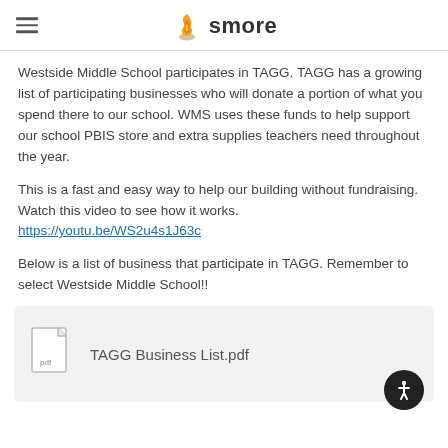smore
Westside Middle School participates in TAGG. TAGG has a growing list of participating businesses who will donate a portion of what you spend there to our school. WMS uses these funds to help support our school PBIS store and extra supplies teachers need throughout the year.
This is a fast and easy way to help our building without fundraising. Watch this video to see how it works.
https://youtu.be/WS2u4s1J63c
Below is a list of business that participate in TAGG. Remember to select Westside Middle School!!
[Figure (other): PDF file attachment card showing a document icon with 'pdf' label and filename 'TAGG Business List.pdf']